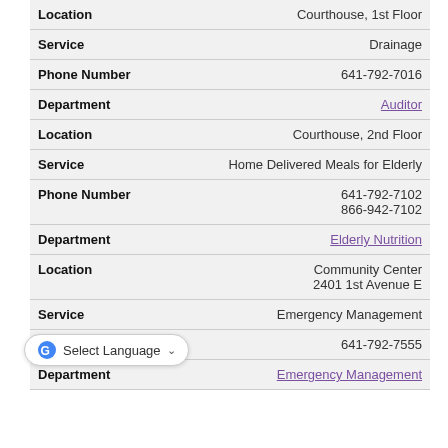| Location | Courthouse, 1st Floor |
| Service | Drainage |
| Phone Number | 641-792-7016 |
| Department | Auditor |
| Location | Courthouse, 2nd Floor |
| Service | Home Delivered Meals for Elderly |
| Phone Number | 641-792-7102
866-942-7102 |
| Department | Elderly Nutrition |
| Location | Community Center
2401 1st Avenue E |
| Service | Emergency Management |
| Phone Number | 641-792-7555 |
| Department | Emergency Management |